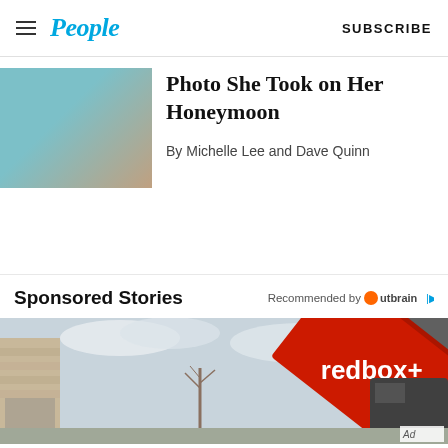People — SUBSCRIBE
Photo She Took on Her Honeymoon
By Michelle Lee and Dave Quinn
Sponsored Stories
Recommended by Outbrain
[Figure (photo): Red redbox+ dumpster container being tilted off a truck in a residential driveway, with a stone-faced house and cloudy sky in background. Ad label visible in bottom right corner.]